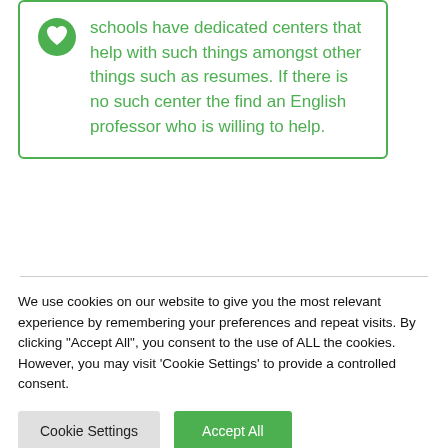schools have dedicated centers that help with such things amongst other things such as resumes. If there is no such center the find an English professor who is willing to help.
We use cookies on our website to give you the most relevant experience by remembering your preferences and repeat visits. By clicking "Accept All", you consent to the use of ALL the cookies. However, you may visit 'Cookie Settings' to provide a controlled consent.